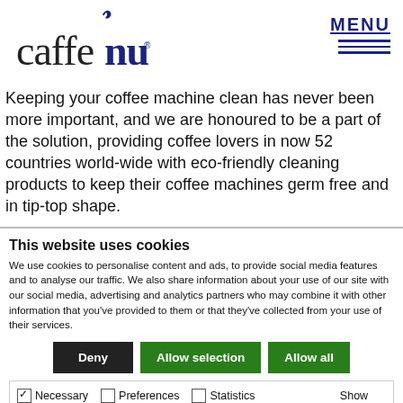[Figure (logo): Caffe Nu logo with flame icon and registered trademark symbol]
Keeping your coffee machine clean has never been more important, and we are honoured to be a part of the solution, providing coffee lovers in now 52 countries world-wide with eco-friendly cleaning products to keep their coffee machines germ free and in tip-top shape.
This website uses cookies
We use cookies to personalise content and ads, to provide social media features and to analyse our traffic. We also share information about your use of our site with our social media, advertising and analytics partners who may combine it with other information that you've provided to them or that they've collected from your use of their services.
Deny | Allow selection | Allow all
Necessary | Preferences | Statistics | Marketing | Show details